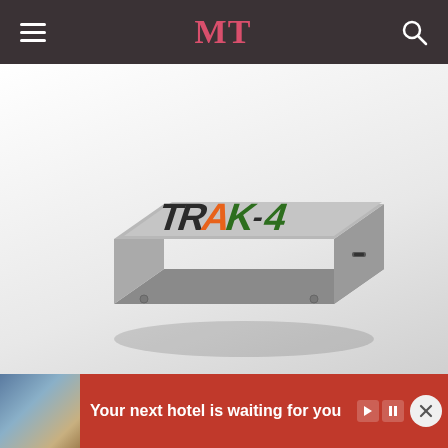MT
[Figure (photo): TRAK-4 GPS tracker device — a grey rectangular plastic enclosure with rounded corners, branded with the TRAK-4 logo in orange and green lettering on top, with a charging port on the side, shown at an angle on a light grey gradient background.]
Your next hotel is waiting for you